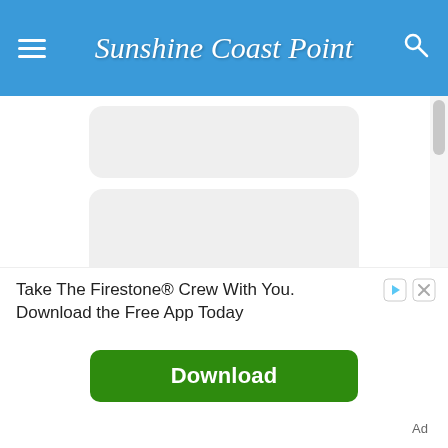Sunshine Coast Point
[Figure (screenshot): Website content area with four rounded rectangle placeholder cards stacked vertically with a scrollbar on the right side]
Take The Firestone® Crew With You. Download the Free App Today
Download
Ad